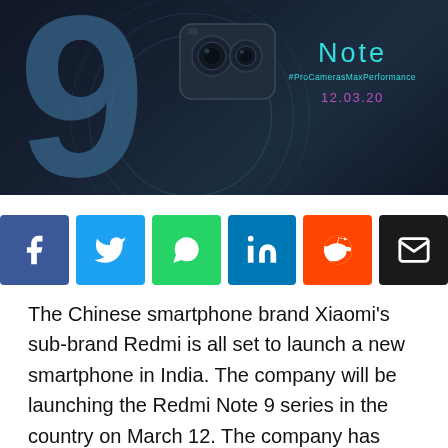[Figure (photo): Redmi Note 9 promotional hero image with dark blue background, large stylized '9' numeral, camera module rendering, 'Note' text in teal, '#ProCamerasMaxPerformance' hashtag, and date '12.03.20' in purple]
[Figure (infographic): Social media share buttons row: Facebook (blue), Twitter (light blue), WhatsApp (green), LinkedIn (dark blue), Reddit (orange-red), Email (black)]
The Chinese smartphone brand Xiaomi's sub-brand Redmi is all set to launch a new smartphone in India. The company will be launching the Redmi Note 9 series in the country on March 12. The company has also started sending media invites for next week's launch event. To recall the series is the successor of Redmi Note 8 line up of smartphones, which was launched last year in 2019. The